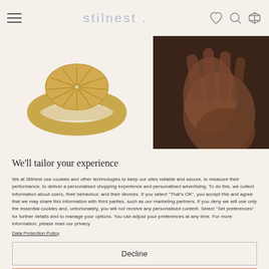stilnest .
[Figure (photo): Gold signet ring with sunburst/spoke pattern on face, product shot on light background]
[Figure (photo): Close-up dark photo of a hand wearing a ring]
We'll tailor your experience
We at Stilnest use cookies and other technologies to keep our sites reliable and secure, to measure their performance, to deliver a personalised shopping experience and personalised advertising. To do this, we collect information about users, their behaviour, and their devices. If you select "That's OK", you accept this and agree that we may share this information with third parties, such as our marketing partners. If you deny we will use only the essential cookies and, unfortunately, you will not receive any personalised content. Select "Set preferences" for further details and to manage your options. You can adjust your preferences at any time. For more information, please read our privacy
Data Protection Policy
Decline
That's Ok